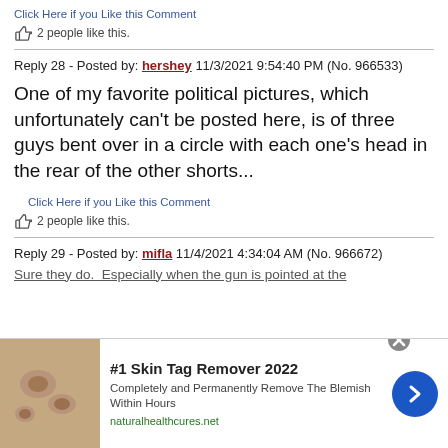Click Here if you Like this Comment
👍 2 people like this.
Reply 28 - Posted by: hershey 11/3/2021 9:54:40 PM (No. 966533)
One of my favorite political pictures, which unfortunately can't be posted here, is of three guys bent over in a circle with each one's head in the rear of the other shorts...
Click Here if you Like this Comment
👍 2 people like this.
Reply 29 - Posted by: mifla 11/4/2021 4:34:04 AM (No. 966672)
Sure they do. Especially when the gun is pointed at the
[Figure (screenshot): Advertisement banner: #1 Skin Tag Remover 2022 - Completely and Permanently Remove The Blemish Within Hours - naturalhealthcures.net]